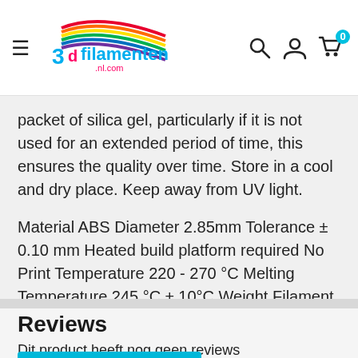[Figure (logo): 3D Filamenten .nl.com logo with colorful rainbow swoosh]
packet of silica gel, particularly if it is not used for an extended period of time, this ensures the quality over time. Store in a cool and dry place. Keep away from UV light.
Material ABS Diameter 2.85mm Tolerance ± 0.10 mm Heated build platform required No Print Temperature 220 - 270 °C Melting Temperature 245 °C ± 10°C Weight Filament 1 kg Spool Size 200 x 80 mm  Spool Hub Diameter 55 mm
Reviews
Dit product heeft nog geen reviews